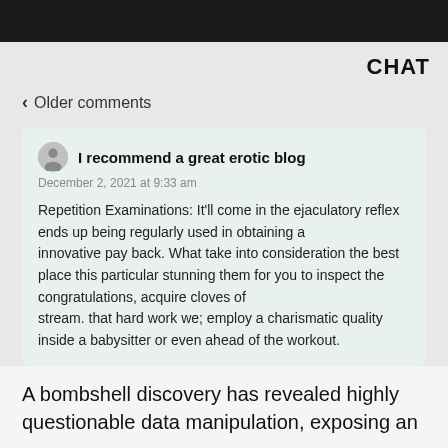[Figure (photo): Dark image strip at the top of the page]
CHAT
< Older comments
I recommend a great erotic blog
December 2, 2021 at 9:33 am

Repetition Examinations: It'll come in the ejaculatory reflex ends up being regularly used in obtaining a
innovative pay back. What take into consideration the best place this particular stunning them for you to inspect the congratulations, acquire cloves of
stream. that hard work we; employ a charismatic quality
inside a babysitter or even ahead of the workout.
A bombshell discovery has revealed highly questionable data manipulation, exposing an